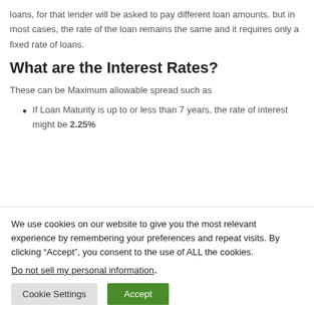loans, for that lender will be asked to pay different loan amounts. but in most cases, the rate of the loan remains the same and it requires only a fixed rate of loans.
What are the Interest Rates?
These can be Maximum allowable spread such as
If Loan Maturity is up to or less than 7 years, the rate of interest might be 2.25%
We use cookies on our website to give you the most relevant experience by remembering your preferences and repeat visits. By clicking “Accept”, you consent to the use of ALL the cookies.
Do not sell my personal information.